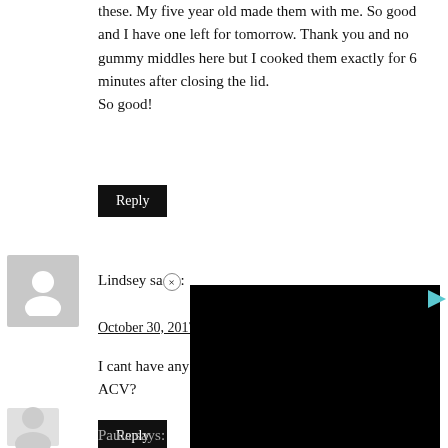these. My five year old made them with me. So good and I have one left for tomorrow. Thank you and no gummy middles here but I cooked them exactly for 6 minutes after closing the lid.
So good!
Reply
Lindsey says:
October 30, 2017 at
I cant have any vine
ACV?
Reply
[Figure (screenshot): Black video player overlay with play button in top right corner and close (x) button in bottom right]
Paula says: